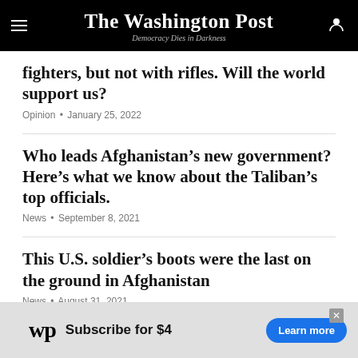The Washington Post — Democracy Dies in Darkness
fighters, but not with rifles. Will the world support us?
Opinion • January 25, 2022
Who leads Afghanistan's new government? Here's what we know about the Taliban's top officials.
News • September 8, 2021
This U.S. soldier's boots were the last on the ground in Afghanistan
News • August 31, 2021
[Figure (other): Washington Post subscription advertisement banner: WP logo, 'Subscribe for $4', 'Learn more' button]